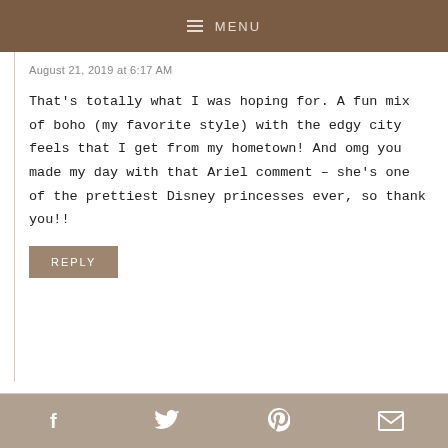MENU
August 21, 2019 at 6:17 AM
That's totally what I was hoping for. A fun mix of boho (my favorite style) with the edgy city feels that I get from my hometown! And omg you made my day with that Ariel comment – she's one of the prettiest Disney princesses ever, so thank you!!
REPLY
Social share bar: Facebook, Twitter, Pinterest, Email